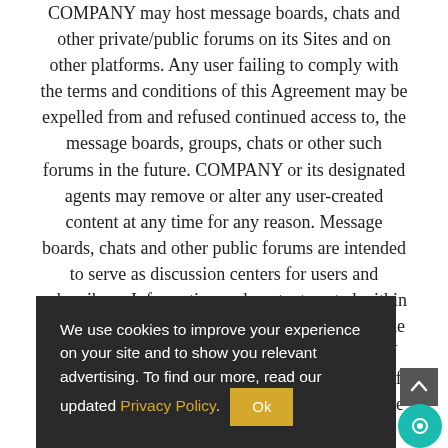COMPANY may host message boards, chats and other private/public forums on its Sites and on other platforms. Any user failing to comply with the terms and conditions of this Agreement may be expelled from and refused continued access to, the message boards, groups, chats or other such forums in the future. COMPANY or its designated agents may remove or alter any user-created content at any time for any reason. Message boards, chats and other public forums are intended to serve as discussion centers for users and subscribers. Information and content posted within these public forums may be [COMPANY's outside] [ected with] [employ] [Y expressly] [rsement a] [ality of ar] opinion, advice, information or statement made
We use cookies to improve your experience on your site and to show you relevant advertising. To find our more, read our updated Privacy Policy. Ok